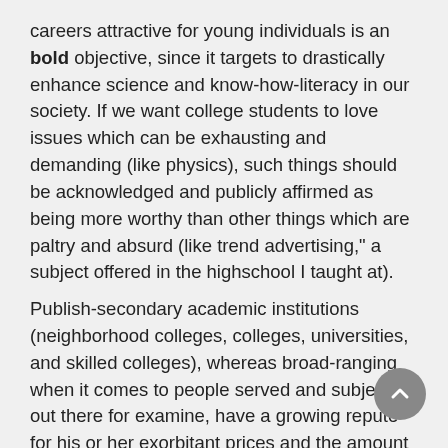careers attractive for young individuals is an bold objective, since it targets to drastically enhance science and know-how-literacy in our society. If we want college students to love issues which can be exhausting and demanding (like physics), such things should be acknowledged and publicly affirmed as being more worthy than other things which are paltry and absurd (like trend advertising," a subject offered in the highschool I taught at).
Publish-secondary academic institutions (neighborhood colleges, colleges, universities, and skilled colleges), whereas broad-ranging when it comes to people served and subjects out there for examine, have a growing repute for his or her exorbitant prices and the amount of loans that students must take out with a purpose to fund their schooling, and there is elevated discussion about the actual price of a faculty degree by way of employability and future earnings.